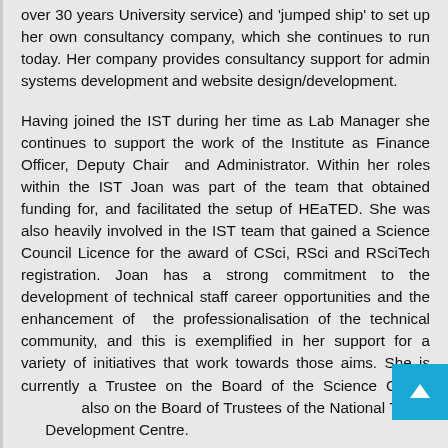over 30 years University service) and 'jumped ship' to set up her own consultancy company, which she continues to run today. Her company provides consultancy support for admin systems development and website design/development.
Having joined the IST during her time as Lab Manager she continues to support the work of the Institute as Finance Officer, Deputy Chair and Administrator. Within her roles within the IST Joan was part of the team that obtained funding for, and facilitated the setup of HEaTED. She was also heavily involved in the IST team that gained a Science Council Licence for the award of CSci, RSci and RSciTech registration. Joan has a strong commitment to the development of technical staff career opportunities and the enhancement of the professionalisation of the technical community, and this is exemplified in her support for a variety of initiatives that work towards those aims. She is currently a Trustee on the Board of the Science Council and also on the Board of Trustees of the National Technicians Development Centre.